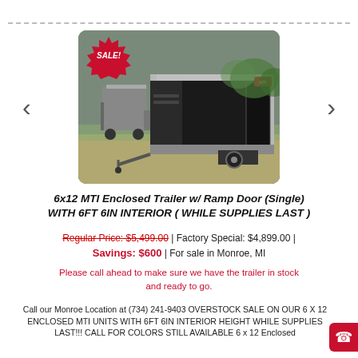[Figure (photo): Photo of a black 6x12 MTI enclosed trailer with silver trim, parked on gravel. A red SALE! starburst badge is in the top-left of the image. Another smaller grey trailer is visible in the background. Left and right navigation arrows flank the photo.]
6x12 MTI Enclosed Trailer w/ Ramp Door (Single) WITH 6FT 6IN INTERIOR ( WHILE SUPPLIES LAST )
Regular Price: $5,499.00 | Factory Special: $4,899.00 | Savings: $600 | For sale in Monroe, MI
Please call ahead to make sure we have the trailer in stock and ready to go.
Call our Monroe Location at (734) 241-9403 OVERSTOCK SALE ON OUR 6 X 12 ENCLOSED MTI UNITS WITH 6FT 6IN INTERIOR HEIGHT WHILE SUPPLIES LAST!!! CALL FOR COLORS STILL AVAILABLE 6 x 12 Enclosed